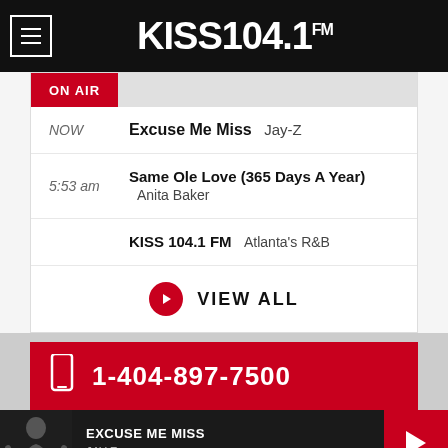KISS 104.1 FM
ON AIR
NOW  Excuse Me Miss  Jay-Z
5:53 am  Same Ole Love (365 Days A Year)  Anita Baker
KISS 104.1 FM  Atlanta's R&B
VIEW ALL
1-404-897-7500
EXCUSE ME MISS
JAY-Z